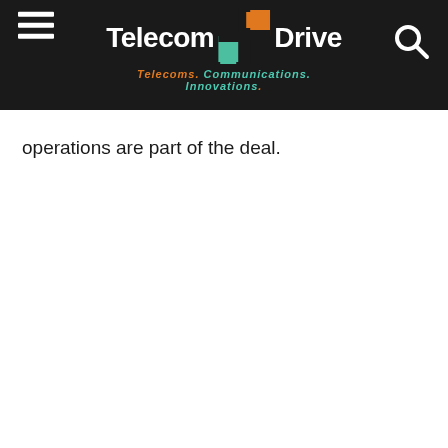Telecom Drive — Telecoms. Communications. Innovations.
operations are part of the deal.